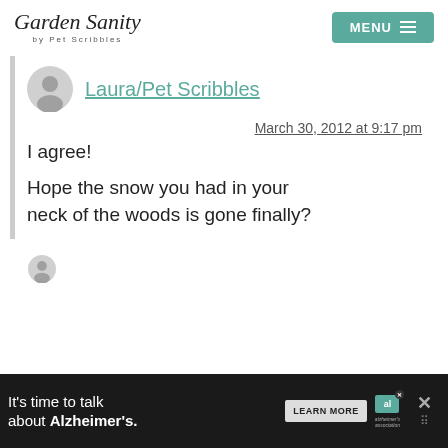Garden Sanity by Pet Scribbles | MENU
Laura/Pet Scribbles
March 30, 2012 at 9:17 pm
I agree! Hope the snow you had in your neck of the woods is gone finally?
[Figure (other): Partial avatar icon at bottom of page]
It's time to talk about Alzheimer's. LEARN MORE